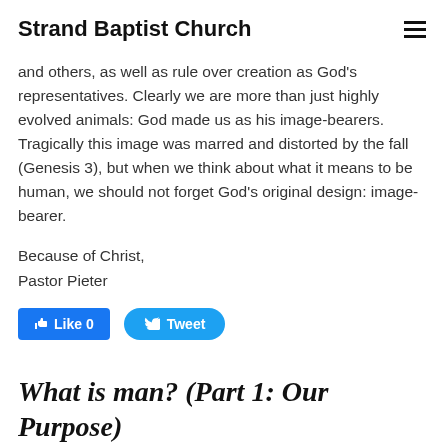Strand Baptist Church
and others, as well as rule over creation as God's representatives. Clearly we are more than just highly evolved animals: God made us as his image-bearers. Tragically this image was marred and distorted by the fall (Genesis 3), but when we think about what it means to be human, we should not forget God's original design: image-bearer.
Because of Christ,
Pastor Pieter
[Figure (other): Facebook Like button showing Like 0 and Twitter Tweet button]
What is man? (Part 1: Our Purpose)
3/10/2017